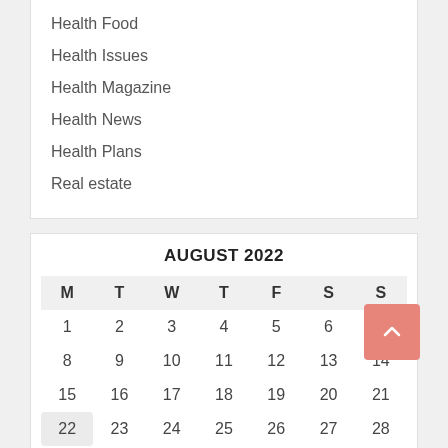Health Food
Health Issues
Health Magazine
Health News
Health Plans
Real estate
AUGUST 2022
| M | T | W | T | F | S | S |
| --- | --- | --- | --- | --- | --- | --- |
| 1 | 2 | 3 | 4 | 5 | 6 | 7 |
| 8 | 9 | 10 | 11 | 12 | 13 | 14 |
| 15 | 16 | 17 | 18 | 19 | 20 | 21 |
| 22 | 23 | 24 | 25 | 26 | 27 | 28 |
| 29 | 30 | 31 |  |  |  |  |